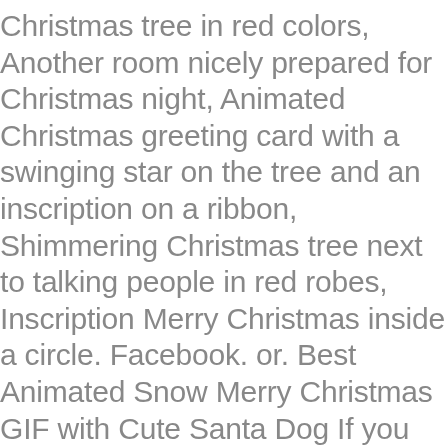Christmas tree in red colors, Another room nicely prepared for Christmas night, Animated Christmas greeting card with a swinging star on the tree and an inscription on a ribbon, Shimmering Christmas tree next to talking people in red robes, Inscription Merry Christmas inside a circle. Facebook. or. Best Animated Snow Merry Christmas GIF with Cute Santa Dog If you have friends who love dogs then they will love this adorable funny dog with eyes closed with the Christmas hat featured on this gif image. Printable Powerpuff Girls … Snowflakes circle in the air to recreate the silhouette of a Christmas tree. Merry Christmas Gif for Facebook, Twitter, Whatsapp and other messengers to share with family and friends. 35 33 2. May the melody and spirit of this Christmas Holidays fill your homes with love and peace. Dec 4, 2018 - Explore THE TEA LADY's board "SOULFUL CHRISTMAS", followed by 4307 people on Pinterest. Merry Christmas animations, glitter graphics and clipart images. Log In. It has a